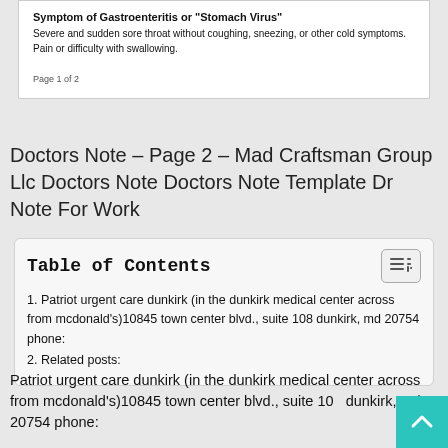Symptom of Gastroenteritis or "Stomach Virus"
Severe and sudden sore throat without coughing, sneezing, or other cold symptoms. Pain or difficulty with swallowing.
Page 1 of 2
Doctors Note – Page 2 – Mad Craftsman Group Llc Doctors Note Doctors Note Template Dr Note For Work
Table of Contents
1. Patriot urgent care dunkirk (in the dunkirk medical center across from mcdonald's)10845 town center blvd., suite 108 dunkirk, md 20754 phone:
2. Related posts:
Patriot urgent care dunkirk (in the dunkirk medical center across from mcdonald's)10845 town center blvd., suite 108 dunkirk, md 20754 phone: